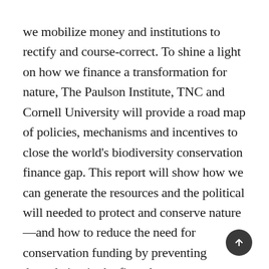we mobilize money and institutions to rectify and course-correct. To shine a light on how we finance a transformation for nature, The Paulson Institute, TNC and Cornell University will provide a road map of policies, mechanisms and incentives to close the world's biodiversity conservation finance gap. This report will show how we can generate the resources and the political will needed to protect and conserve nature—and how to reduce the need for conservation funding by preventing degradation in the first place.
With the global economy worth more US$80 trillion in 2017, the several hundred billion we need to ensure a healthy planet is a relatively small price to pay.